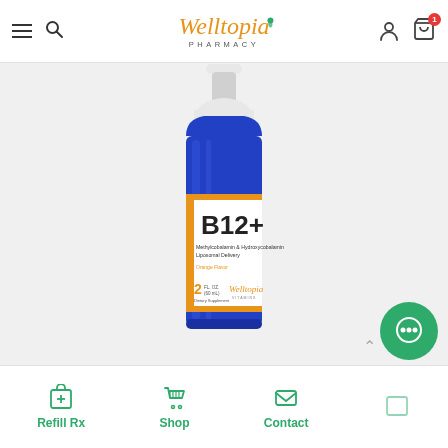Welltopia Pharmacy — navigation header with menu, search, logo, user, and cart icons
[Figure (photo): Blue dropper bottle of Welltopia B12+ supplement (Methylcobalamin & Hydroxycobalamin Liposomal Delivery, Orange Flavor, 2 FL. OZ / 60 mL, Dietary Supplement) with white dropper cap, white label with orange accent stripe and Welltopia Vitamins branding]
Refill Rx  Shop  Contact  (bottom navigation bar)